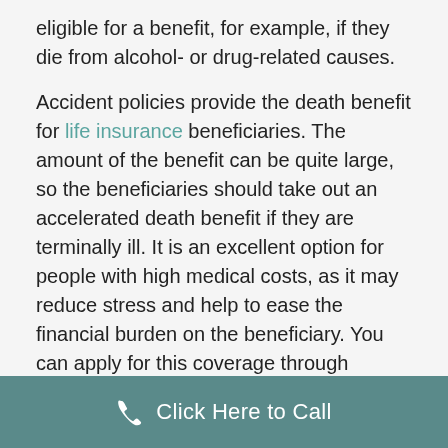eligible for a benefit, for example, if they die from alcohol- or drug-related causes.
Accident policies provide the death benefit for life insurance beneficiaries. The amount of the benefit can be quite large, so the beneficiaries should take out an accelerated death benefit if they are terminally ill. It is an excellent option for people with high medical costs, as it may reduce stress and help to ease the financial burden on the beneficiary. You can apply for this coverage through MemberOnline. But you must note that the death benefit may take up to four months to be paid out, depending on the amount of time you are left to live. While the amount of coverage isnt huge, the policy should cover unexpected expenses, such as the
Click Here to Call